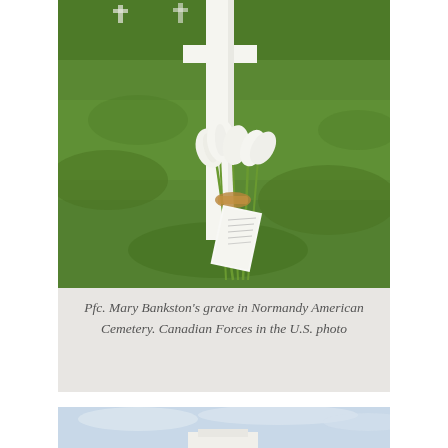[Figure (photo): A white cross grave marker in a green grassy cemetery with white calla lilies tied to it and a note/card attached. The background shows lush green grass of a military cemetery.]
Pfc. Mary Bankston's grave in Normandy American Cemetery. Canadian Forces in the U.S. photo
[Figure (photo): Partial view of what appears to be a military cemetery or monument, showing sky and a white structure, cropped at the bottom of the page.]